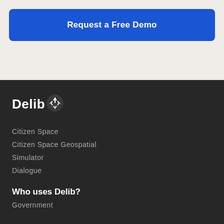Request a Free Demo
[Figure (logo): Delib logo with recycling-style icon]
Citizen Space
Citizen Space Geospatial
Simulator
Dialogue
Who uses Delib?
Government